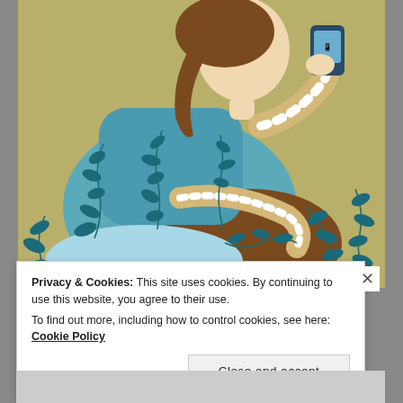[Figure (illustration): Illustration of a young woman with brown hair, wearing a teal/blue sweater with leaf vine patterns and striped leggings, sitting and looking at a mobile phone she holds up in her right hand. The background is olive/tan. Ivy and vine leaf decorations are scattered throughout the image.]
Privacy & Cookies: This site uses cookies. By continuing to use this website, you agree to their use.
To find out more, including how to control cookies, see here: Cookie Policy
Close and accept